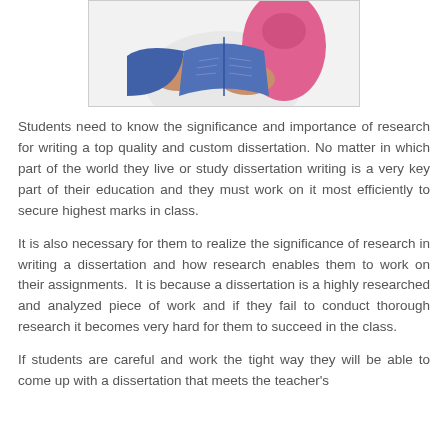[Figure (photo): A student wearing a pink backpack and reading/holding an open blue book, photographed from the torso area.]
Students need to know the significance and importance of research for writing a top quality and custom dissertation. No matter in which part of the world they live or study dissertation writing is a very key part of their education and they must work on it most efficiently to secure highest marks in class.
It is also necessary for them to realize the significance of research in writing a dissertation and how research enables them to work on their assignments.  It is because a dissertation is a highly researched and analyzed piece of work and if they fail to conduct thorough research it becomes very hard for them to succeed in the class.
If students are careful and work the tight way they will be able to come up with a dissertation that meets the teacher's